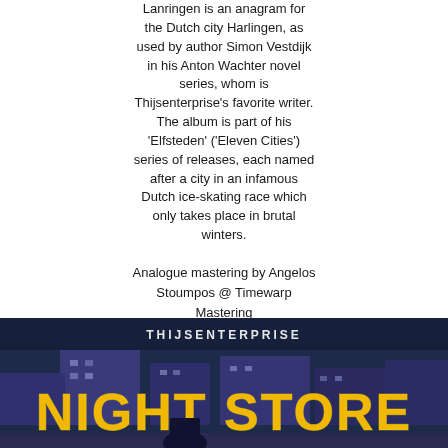Lanringen is an anagram for the Dutch city Harlingen, as used by author Simon Vestdijk in his Anton Wachter novel series, whom is Thijsenterprise's favorite writer. The album is part of his 'Elfsteden' ('Eleven Cities') series of releases, each named after a city in an infamous Dutch ice-skating race which only takes place in brutal winters.
Analogue mastering by Angelos Stoumpos @ Timewarp Mastering
www.timewarpmusic.org
Cover art by Carla Osma Cortés
www.cosmac.es
Released by Rucksack Records
rucksackrecords.bandcamp.com
Dedicated to my dad.
[Figure (illustration): Album cover image showing 'THIJSENTERPRISE' text at top in white on dark navy/purple background, with 'NIGHT STORE' in large yellow/orange neon-style letters below, and a figure visible at the bottom]